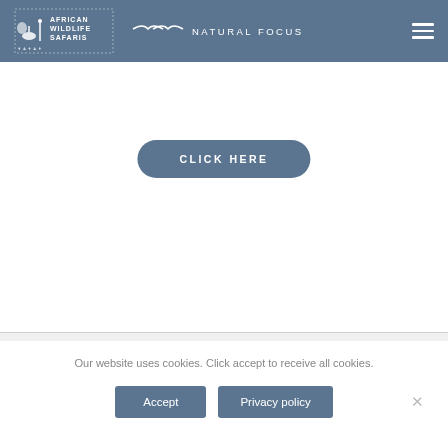African Wildlife Safaris Natural Focus
[Figure (logo): African Wildlife Safaris and Natural Focus logo on blue-grey header bar with hamburger menu icon]
/
CLICK HERE
Our website uses cookies. Click accept to receive all cookies.
Accept
Privacy policy